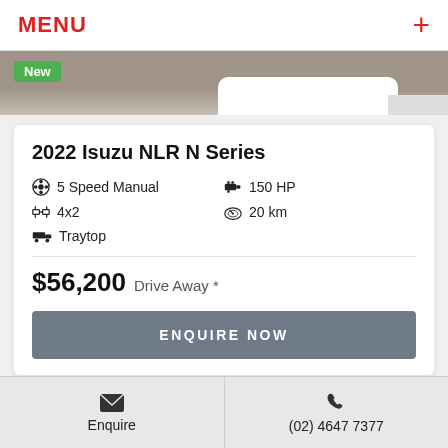MENU
[Figure (photo): Top portion of a vehicle listing photo showing a white truck against a pavement background, with a green 'New' badge overlaid in the top-left corner.]
2022 Isuzu NLR N Series
5 Speed Manual
150 HP
4x2
20 km
Traytop
$56,200 Drive Away *
ENQUIRE NOW
Enquire | (02) 4647 7377